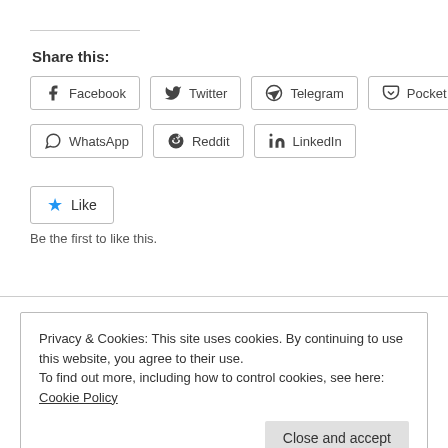Share this:
Facebook
Twitter
Telegram
Pocket
WhatsApp
Reddit
LinkedIn
[Figure (other): Like button with blue star icon]
Be the first to like this.
Privacy & Cookies: This site uses cookies. By continuing to use this website, you agree to their use.
To find out more, including how to control cookies, see here: Cookie Policy
Close and accept